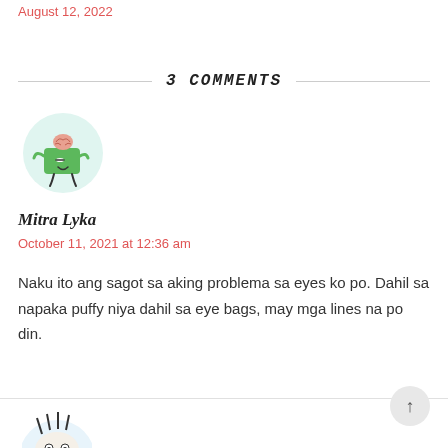August 12, 2022
3 COMMENTS
[Figure (illustration): Circular avatar with light teal background showing a cartoon green robot/character with a brain on top, one eye winking, arms and legs.]
Mitra Lyka
October 11, 2021 at 12:36 am
Naku ito ang sagot sa aking problema sa eyes ko po. Dahil sa napaka puffy niya dahil sa eye bags, may mga lines na po din.
[Figure (illustration): Partial circular avatar at the bottom with a cartoon monster/creature character.]